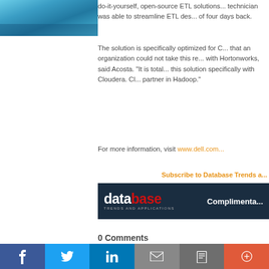[Figure (photo): Partial photo of person in blue/teal clothing, cropped at top-left]
do-it-yourself, open-source ETL solutions... technician was able to streamline ETL des... of four days back.
The solution is specifically optimized for C... that an organization could not take this re... with Hortonworks, said Acosta. "It is total... this solution specifically with Cloudera. Cl... partner in Hadoop."
For more information, visit www.dell.com...
Subscribe to Database Trends a...
[Figure (logo): Database Trends and Applications magazine banner with 'Complimenta...' text on dark background]
0 Comments
[Figure (infographic): Social media sharing bar with Facebook, Twitter, LinkedIn, Email, Print, and More buttons]